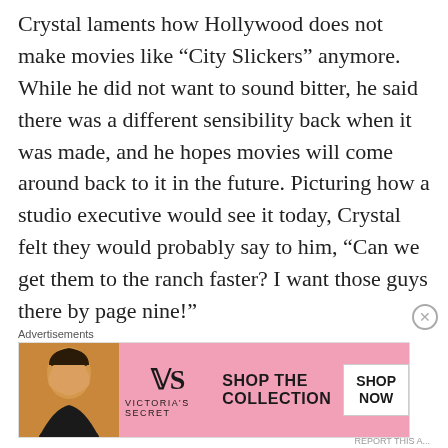Crystal laments how Hollywood does not make movies like “City Slickers” anymore. While he did not want to sound bitter, he said there was a different sensibility back when it was made, and he hopes movies will come around back to it in the future. Picturing how a studio executive would see it today, Crystal felt they would probably say to him, “Can we get them to the ranch faster? I want those guys there by page nine!”
Still, 20 years later after its release, we were all in agreement with Crystal that “City Slickers”
Advertisements
[Figure (infographic): Victoria's Secret advertisement banner with a woman's photo on the left, the VS logo and VICTORIA'S SECRET text in the center, SHOP THE COLLECTION text, and a SHOP NOW button on the right, on a pink background.]